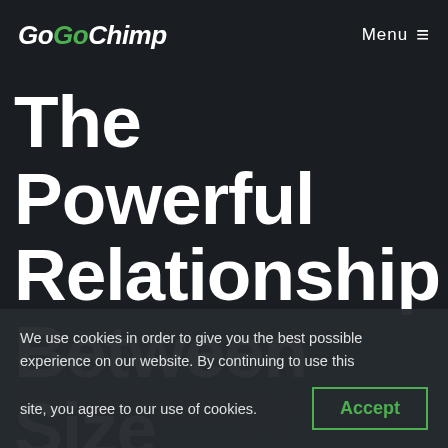GoGoChimp  Menu ≡
The Powerful Relationship Between Size
We use cookies in order to give you the best possible experience on our website. By continuing to use this site, you agree to our use of cookies.
Accept